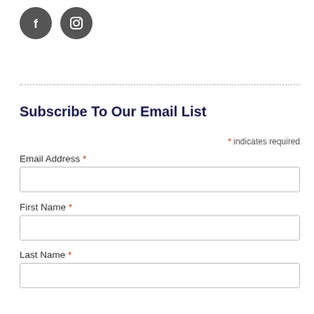[Figure (illustration): Two circular social media icons: Facebook (f) and Instagram (camera) in dark grey circles]
Subscribe To Our Email List
* indicates required
Email Address *
First Name *
Last Name *